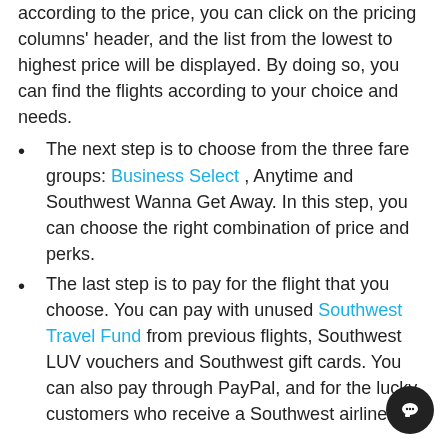So, if you want the flights to be displayed according to the price, you can click on the pricing columns' header, and the list from the lowest to highest price will be displayed. By doing so, you can find the flights according to your choice and needs.
The next step is to choose from the three fare groups: Business Select , Anytime and Southwest Wanna Get Away. In this step, you can choose the right combination of price and perks.
The last step is to pay for the flight that you choose. You can pay with unused Southwest Travel Fund from previous flights, Southwest LUV vouchers and Southwest gift cards. You can also pay through PayPal, and for the lucky customers who receive a Southwest airlines